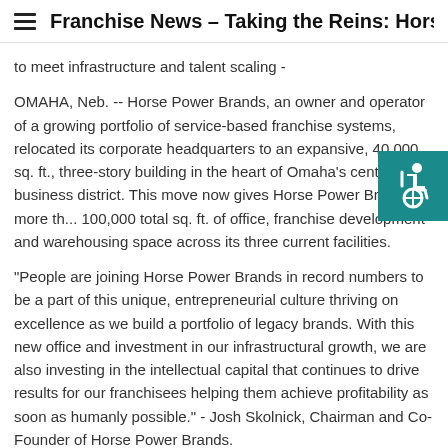Franchise News - Taking the Reins: Horse
to meet infrastructure and talent scaling -
OMAHA, Neb. -- Horse Power Brands, an owner and operator of a growing portfolio of service-based franchise systems, relocated its corporate headquarters to an expansive, 40,000 sq. ft., three-story building in the heart of Omaha's central business district. This move now gives Horse Power Brands more th... 100,000 total sq. ft. of office, franchise development and warehousing space across its three current facilities.
[Figure (illustration): Accessibility icon - white wheelchair user symbol on teal/dark cyan background square]
"People are joining Horse Power Brands in record numbers to be a part of this unique, entrepreneurial culture thriving on excellence as we build a portfolio of legacy brands. With this new office and investment in our infrastructural growth, we are also investing in the intellectual capital that continues to drive results for our franchisees helping them achieve profitability as soon as humanly possible." - Josh Skolnick, Chairman and Co-Founder of Horse Power Brands.